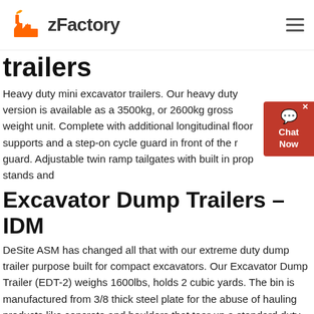zFactory
trailers
Heavy duty mini excavator trailers. Our heavy duty version is available as a 3500kg, or 2600kg gross weight unit. Complete with additional longitudinal floor supports and a step-on cycle guard in front of the guard. Adjustable twin ramp tailgates with built in prop stands and
Excavator Dump Trailers – IDM
DeSite ASM has changed all that with our extreme duty dump trailer purpose built for compact excavators. Our Excavator Dump Trailer (EDT-2) weighs 1600lbs, holds 2 cubic yards. The bin is manufactured from 3/8 thick steel plate for the abuse of hauling products like concrete and boulders that tear up a standard duty dump trailer.
How to Load a Mini Excavator on a Trailer - YouTube
Sep 03, 2020 · • Become a Diggermate Franchisee now!https://diggermate franchise/franchise- Hire Mini Excavators in the